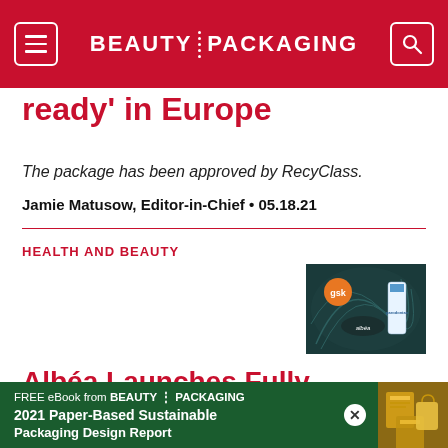BEAUTY PACKAGING
ready' in Europe
The package has been approved by RecyClass.
Jamie Matusow, Editor-in-Chief • 05.18.21
HEALTH AND BEAUTY
[Figure (photo): Product image showing Albéa recyclable toothpaste tube packaging against dark teal background]
Albéa Launches Fully Recyclable Toothpaste Tubes
[Figure (infographic): Advertisement banner: FREE eBook from BEAUTY PACKAGING — 2021 Paper-Based Sustainable Packaging Design Report, with gold package imagery on green background]